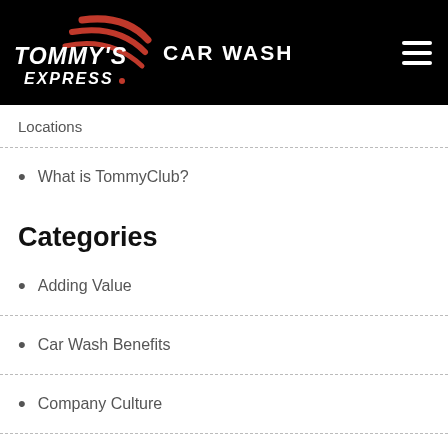TOMMY'S EXPRESS CAR WASH
Locations
What is TommyClub?
Categories
Adding Value
Car Wash Benefits
Company Culture
Enriching Lives
Grand Openings